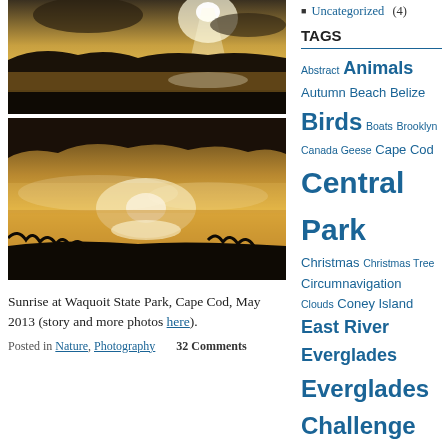[Figure (photo): Sunrise landscape photo at Waquoit State Park, golden light silhouetting trees and grass against a bright sky, reflection on water]
[Figure (photo): Sunrise with golden mist rising over a marshy river or lake, trees silhouetted in background, golden reflections on water]
Sunrise at Waquoit State Park, Cape Cod, May 2013 (story and more photos here).
Posted in Nature, Photography    32 Comments
Uncategorized (4)
TAGS
Abstract Animals Autumn Beach Belize Birds Boats Brooklyn Canada Geese Cape Cod Central Park Christmas Christmas Tree Circumnavigation Clouds Coney Island East River Everglades Everglades Challenge Fall Fall Colors Fall Foliage Colors Florida Florida Kayaking Flowers Halloween Harlem River Hudson River Kayak Camping Kayak Expeditions